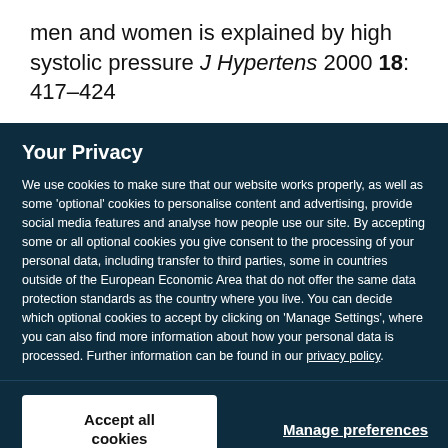men and women is explained by high systolic pressure J Hypertens 2000 18: 417–424
Your Privacy
We use cookies to make sure that our website works properly, as well as some 'optional' cookies to personalise content and advertising, provide social media features and analyse how people use our site. By accepting some or all optional cookies you give consent to the processing of your personal data, including transfer to third parties, some in countries outside of the European Economic Area that do not offer the same data protection standards as the country where you live. You can decide which optional cookies to accept by clicking on 'Manage Settings', where you can also find more information about how your personal data is processed. Further information can be found in our privacy policy.